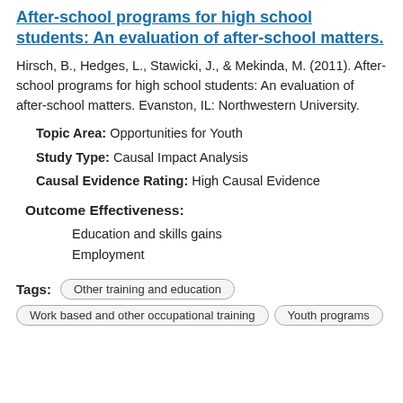After-school programs for high school students: An evaluation of after-school matters.
Hirsch, B., Hedges, L., Stawicki, J., & Mekinda, M. (2011). After-school programs for high school students: An evaluation of after-school matters. Evanston, IL: Northwestern University.
Topic Area: Opportunities for Youth
Study Type: Causal Impact Analysis
Causal Evidence Rating: High Causal Evidence
Outcome Effectiveness:
Education and skills gains
Employment
Tags: Other training and education | Work based and other occupational training | Youth programs